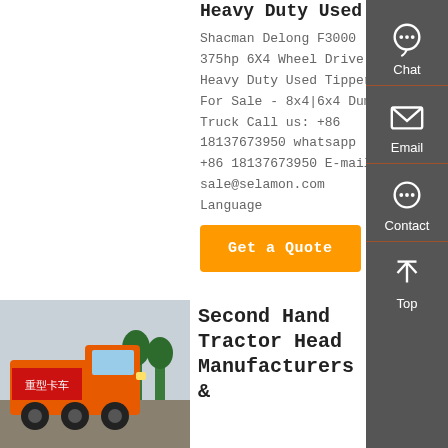Heavy Duty Used...
Shacman Delong F3000 375hp 6X4 Wheel Drive Heavy Duty Used Tipper For Sale - 8x4|6x4 Dump Truck Call us: +86 18137673950 whatsapp +86 18137673950 E-mail: sale@selamon.com Language
Get a Quote
[Figure (photo): Orange heavy-duty tractor truck parked outdoors with Chinese text banner in background]
Second Hand Tractor Head Manufacturers &